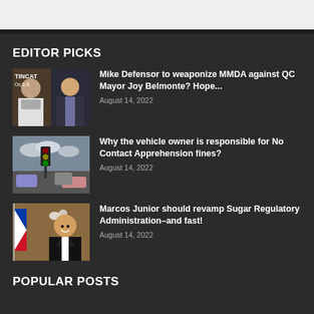EDITOR PICKS
Mike Defensor to weaponize MMDA against QC Mayor Joy Belmonte? Hope...
August 14, 2022
Why the vehicle owner is responsible for No Contact Apprehension fines?
August 14, 2022
Marcos Junior should revamp Sugar Regulatory Administration–and fast!
August 14, 2022
POPULAR POSTS